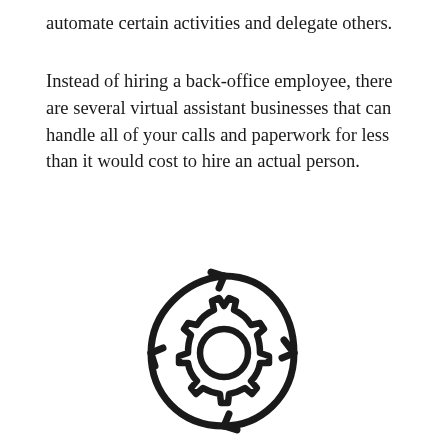automate certain activities and delegate others.
Instead of hiring a back-office employee, there are several virtual assistant businesses that can handle all of your calls and paperwork for less than it would cost to hire an actual person.
[Figure (illustration): A circular arrow icon surrounding a gear/cog symbol, representing automation or a recurring process cycle.]